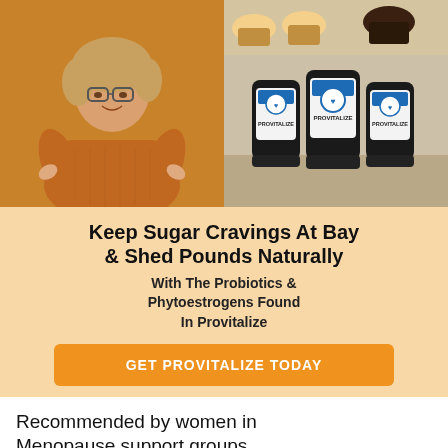[Figure (photo): Woman in orange sweater with glasses pointing at camera, on orange background (left); Three Provitalize supplement bottles and muffins/cupcakes on right side]
Keep Sugar Cravings At Bay & Shed Pounds Naturally
With The Probiotics & Phytoestrogens Found In Provitalize
GET PROVITALIZE TODAY
Recommended by women in Menopause support groups